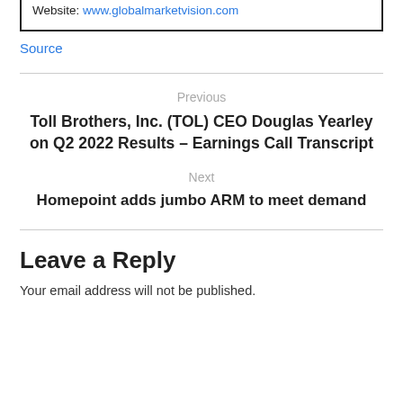Website: www.globalmarketvision.com
Source
Previous
Toll Brothers, Inc. (TOL) CEO Douglas Yearley on Q2 2022 Results – Earnings Call Transcript
Next
Homepoint adds jumbo ARM to meet demand
Leave a Reply
Your email address will not be published.